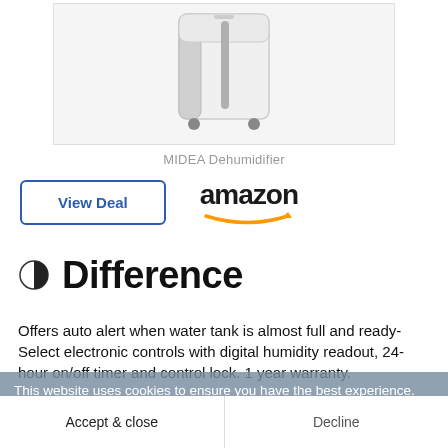[Figure (photo): MIDEA Dehumidifier product image, white boxy appliance on wheels with a vertical handle/vent on the front, shown against white/light gray background]
MIDEA Dehumidifier
View Deal
[Figure (logo): Amazon logo in black bold text with orange arrow underneath]
Difference
Offers auto alert when water tank is almost full and ready-Select electronic controls with digital humidity readout, 24-hour on/off timer and control lock. 1 year warranty.
This website uses cookies to ensure you have the best experience.
Accept & close
Decline